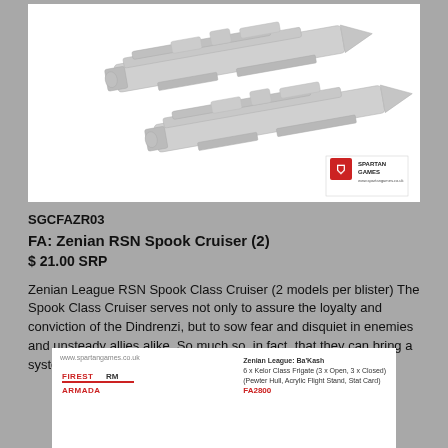[Figure (photo): Two grey plastic/pewter Zenian RSN Spook Class Cruiser spaceship miniatures on white background with Spartan Games logo in bottom right corner]
SGCFAZR03
FA: Zenian RSN Spook Cruiser (2)
$ 21.00 SRP
Zenian League RSN Spook Class Cruiser (2 models per blister) The Spook Class Cruiser serves not only to assure the loyalty and conviction of the Dindrenzi, but to sow fear and disquiet in enemies and unsteady allies alike. So much so, in fact, that they can bring a system's defenders to their knees before a single shot is fired.
[Figure (photo): Bottom portion of a Spartan Games Firestorm Armada product card for Zenian League: Ba'Kash showing the Firestorm Armada logo and product details including 6 x Kelor Class Frigate (3 x Open, 3 x Closed) (Pewter Hull, Acrylic Flight Stand, Stat Card) FA2800]